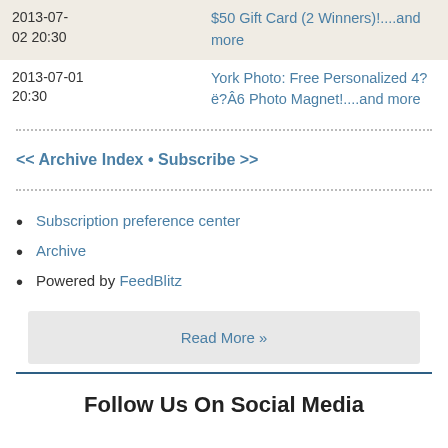| Date | Content |
| --- | --- |
| 2013-07-02 20:30 | $50 Gift Card (2 Winners)!....and more |
| 2013-07-01 20:30 | York Photo: Free Personalized 4?ë?Â6 Photo Magnet!....and more |
<< Archive Index • Subscribe >>
Subscription preference center
Archive
Powered by FeedBlitz
Read More »
Follow Us On Social Media